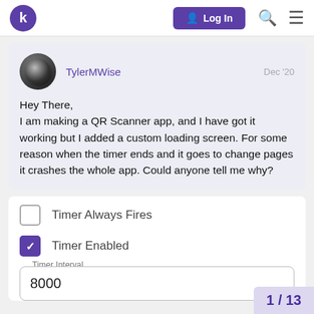k  Log In
TylerMWise  Dec '20

Hey There,
I am making a QR Scanner app, and I have got it working but I added a custom loading screen. For some reason when the timer ends and it goes to change pages it crashes the whole app. Could anyone tell me why?
☐  Timer Always Fires
☑  Timer Enabled
Timer Interval
8000
1 / 13